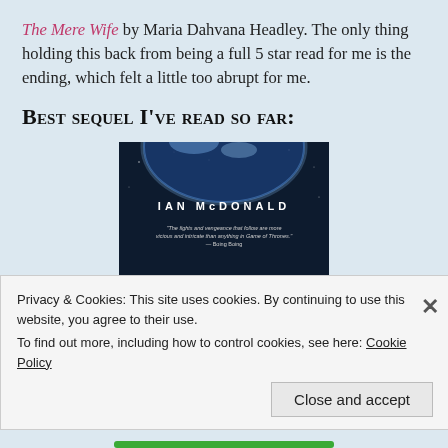The Mere Wife by Maria Dahvana Headley.  The only thing holding this back from being a full 5 star read for me is the ending, which felt a little too abrupt for me.
Best sequel I've read so far:
[Figure (photo): Book cover of LUNA by Ian McDonald. Dark space background showing Earth from orbit, with the word LUNA in large blue letters at the bottom and author name IAN McDONALD at the top. A quote is shown in small text in the middle.]
Privacy & Cookies: This site uses cookies. By continuing to use this website, you agree to their use.
To find out more, including how to control cookies, see here: Cookie Policy
Close and accept